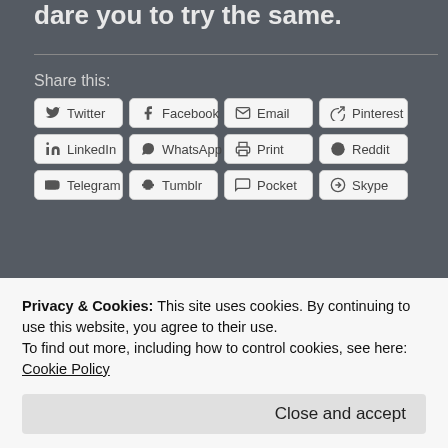dare you to try the same.
Share this:
[Figure (screenshot): Share buttons grid: Twitter, Facebook, Email, Pinterest, LinkedIn, WhatsApp, Print, Reddit, Telegram, Tumblr, Pocket, Skype]
[Figure (other): Like button with star icon and avatar thumbnail image]
Privacy & Cookies: This site uses cookies. By continuing to use this website, you agree to their use.
To find out more, including how to control cookies, see here: Cookie Policy
Close and accept
humanity, humor, information, internet, journalism, movies,